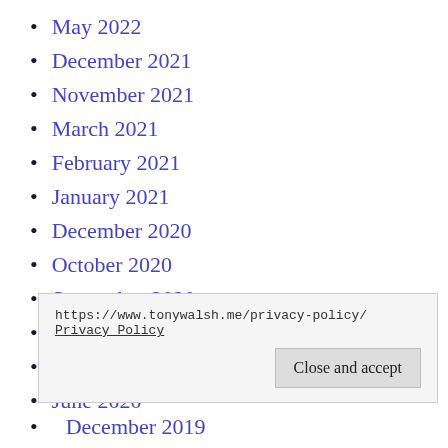May 2022
December 2021
November 2021
March 2021
February 2021
January 2021
December 2020
October 2020
September 2020
August 2020
July 2020
June 2020
https://www.tonywalsh.me/privacy-policy/ Privacy Policy
December 2019